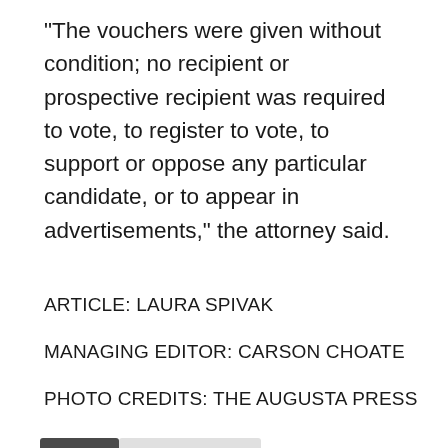"The vouchers were given without condition; no recipient or prospective recipient was required to vote, to register to vote, to support or oppose any particular candidate, or to appear in advertisements," the attorney said.
ARTICLE: LAURA SPIVAK
MANAGING EDITOR: CARSON CHOATE
PHOTO CREDITS: THE AUGUSTA PRESS
[Figure (other): Author bio card with tabs: Bio (active, dark background) and Latest Posts. Card shows a decorative avatar icon for Carson Choate with name in blue text.]